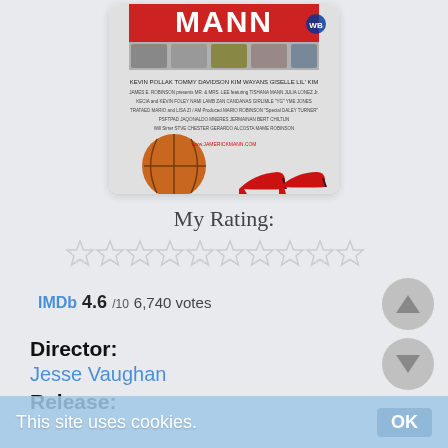[Figure (photo): Movie poster for 'The Mann' featuring cast photos, text with actor names including Kevin Pollak, Tommy Davidson, Kim Wayans, Giselle, Lil' Kim, and images of a basketball and red high-heeled shoes.]
My Rating:
[Figure (infographic): Ten empty star rating icons in a row (0 out of 10 stars selected).]
IMDb 4.6/10  6,740 votes
Director:
Jesse Vaughan
Release:
This site uses cookies.  OK